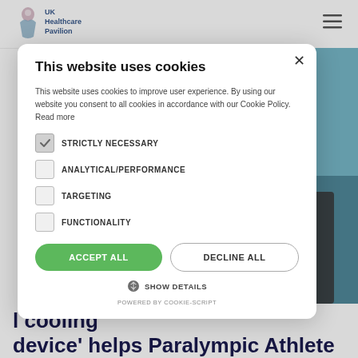[Figure (logo): UK Healthcare Pavilion logo with lion/figure icon in blue/pink and text]
[Figure (photo): Partial background photo showing teal/blue surface and dark metallic object edge]
This website uses cookies
This website uses cookies to improve user experience. By using our website you consent to all cookies in accordance with our Cookie Policy. Read more
STRICTLY NECESSARY (checked)
ANALYTICAL/PERFORMANCE
TARGETING
FUNCTIONALITY
ACCEPT ALL  DECLINE ALL
SHOW DETAILS
POWERED BY COOKIE-SCRIPT
l cooling device' helps Paralympic Athlete